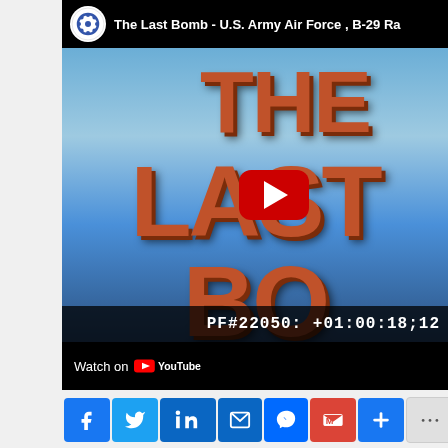[Figure (screenshot): YouTube embedded video player showing 'The Last Bomb - U.S. Army Air Force, B-29 Ra...' with a red play button overlay, timecode PF#22050: +01:00:18;12 in lower right, and 'Watch on YouTube' bar at bottom left]
[Figure (screenshot): Social sharing buttons bar showing Facebook, Twitter, LinkedIn, Email, Messenger, Gmail, Plus, and More buttons]